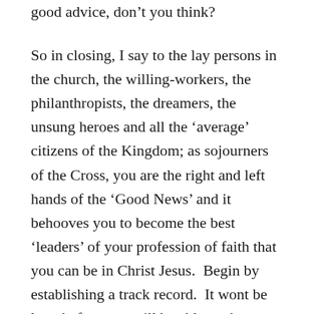good advice, don't you think?
So in closing, I say to the lay persons in the church, the willing-workers, the philanthropists, the dreamers, the unsung heroes and all the ‘average’ citizens of the Kingdom; as sojourners of the Cross, you are the right and left hands of the ‘Good News’ and it behooves you to become the best ‘leaders’ of your profession of faith that you can be in Christ Jesus.  Begin by establishing a track record.  It wont be long before you will be able to show signs of past successes.  People will believe in you and what you have to say because you deliver. Unlike the company, E. F. Hutton (now debunked), you will be like the Master Teacher and Eternal Leader of all times,  Jesus Christ, the Son of the Living God! Amen and thank You Jesus for trusting us.